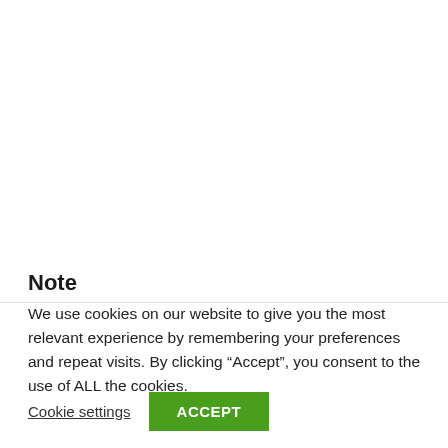Note
We use cookies on our website to give you the most relevant experience by remembering your preferences and repeat visits. By clicking “Accept”, you consent to the use of ALL the cookies.
Cookie settings | ACCEPT